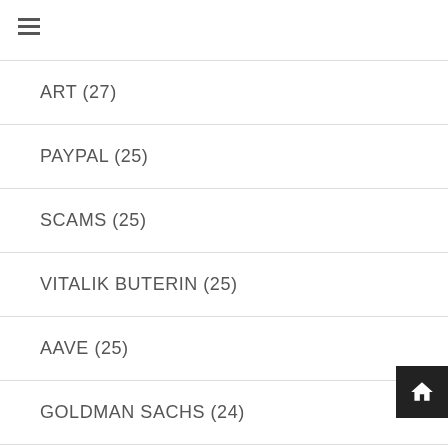ART (27)
PAYPAL (25)
SCAMS (25)
VITALIK BUTERIN (25)
AAVE (25)
GOLDMAN SACHS (24)
BTC (24)
TESLA (24)